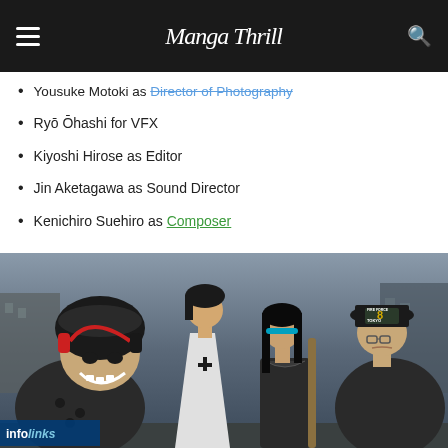MangaThrll (site header with hamburger menu and search icon)
Yousuke Motoki as Director of Photography
Ryō Ōhashi for VFX
Kiyoshi Hirose as Editor
Jin Aketagawa as Sound Director
Kenichiro Suehiro as Composer
[Figure (illustration): Anime scene from Fire Force showing four characters standing in a dark urban setting. Left: character with red headphones and black fur hat grinning. Center-left: character in white cape outfit. Center-right: female character with dark hair. Right: character wearing a Fire Force 8 Tokyo hat with glasses.]
[Figure (other): Infolinks advertisement bar with two ads: 'Shop the Best New & Used Car Deals in Your Area? Ad by Car Deals Near You' and 'Here's Why A Las Vegas Lake Is Covered In 96 Million Floating Black balls Ad by Nancy']